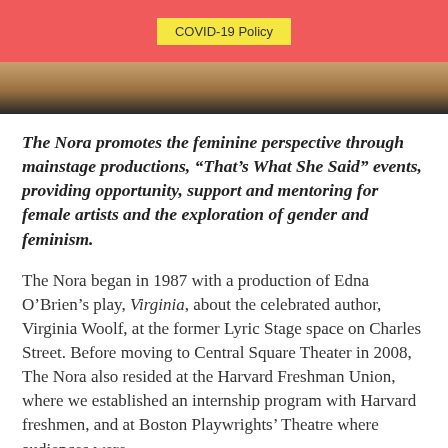COVID-19 Policy
[Figure (photo): Bottom portion of a photo, showing a dark horizontal bar or stage element against a warm brownish background]
The Nora promotes the feminine perspective through mainstage productions, “That’s What She Said” events, providing opportunity, support and mentoring for female artists and the exploration of gender and feminism.
The Nora began in 1987 with a production of Edna O’Brien’s play, Virginia, about the celebrated author, Virginia Woolf, at the former Lyric Stage space on Charles Street. Before moving to Central Square Theater in 2008, The Nora also resided at the Harvard Freshman Union, where we established an internship program with Harvard freshmen, and at Boston Playwrights’ Theatre where audiences were